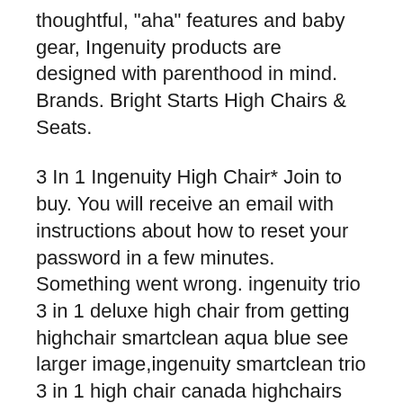thoughtful, "aha" features and baby gear, Ingenuity products are designed with parenthood in mind.  Brands. Bright Starts High Chairs & Seats.
3 In 1 Ingenuity High Chair* Join to buy. You will receive an email with instructions about how to reset your password in a few minutes. Something went wrong. ingenuity trio 3 in 1 deluxe high chair from getting highchair smartclean aqua blue see larger image,ingenuity smartclean trio 3 in 1 high chair canada highchairs top
Kijiji Alerts are an email notification service where in 1 Ingenuity high chair, free pet free home I also have the